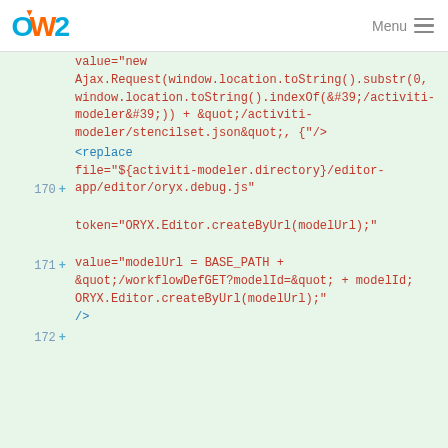OW2 Menu
[Figure (screenshot): Code diff showing XML/JavaScript code with line numbers 170, 171, 172 and added lines marked with + sign. Code shows replace element with file and token attributes for activiti-modeler editor configuration.]